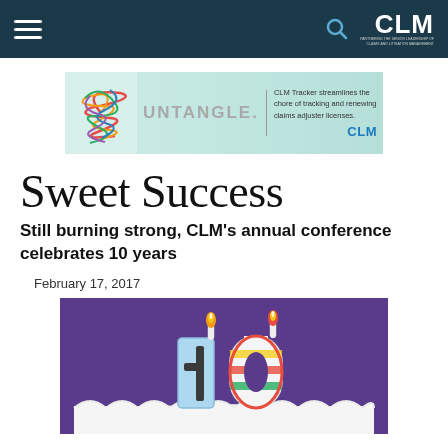CLM — navigation bar with hamburger menu, search, and CLM logo
[Figure (infographic): CLM Tracker advertisement banner: tangled colorful lines illustration on left, UNTANGLE. text in grey, divider, and text 'CLM Tracker streamlines the chore of tracking and renewing claims adjuster licenses.' with blue CLM logo on right]
Sweet Success
Still burning strong, CLM's annual conference celebrates 10 years
February 17, 2017
[Figure (photo): Birthday cake with candle-shaped number '10' on top with lit candles, white frosting, purple background]